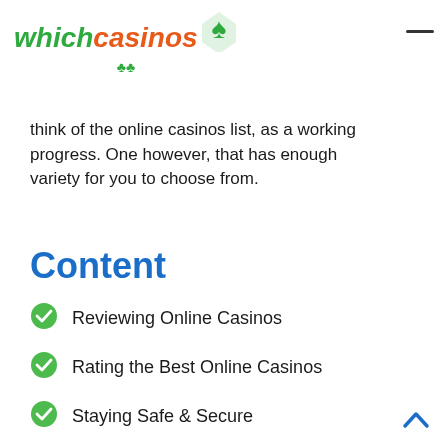whichcasinos
think of the online casinos list, as a working progress. One however, that has enough variety for you to choose from.
Content
Reviewing Online Casinos
Rating the Best Online Casinos
Staying Safe & Secure
The Welcome Bonus Offer
Functionality & Usability
Accepted Payment Methods